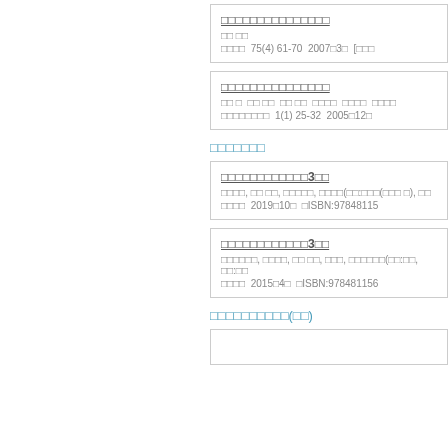□□□□□□□□□□□□□□□
□□ □□
□□□□  75(4) 61-70  2007□3□  [□□□
□□□□□□□□□□□□□□□
□□ □  □□ □□  □□ □□  □□□□  □□□□  □□□□
□□□□□□□□  1(1) 25-32  2005□12□
□□□□□□□
□□□□□□□□□□□□3□□
□□□□, □□ □□, □□□□□, □□□□(□□:□□□(□□□ □), □□
□□□□  2019□10□  □ISBN:97848115
□□□□□□□□□□□□3□□
□□□□□□, □□□□, □□ □□, □□□, □□□□□□(□□:□□, □□:□□
□□□□  2015□4□  □ISBN:978481156
□□□□□□□□□□(□□)